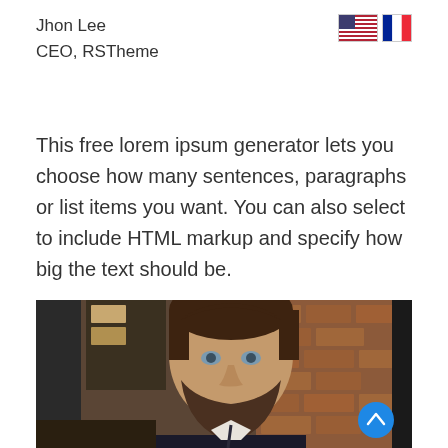Jhon Lee
CEO, RSTheme
[Figure (illustration): US flag and French flag icons side by side]
This free lorem ipsum generator lets you choose how many sentences, paragraphs or list items you want. You can also select to include HTML markup and specify how big the text should be.
[Figure (photo): Professional headshot of a smiling young man with short dark brown hair and a beard, wearing a dark suit, against a brick wall background. A blue scroll-to-top button is visible in the bottom right.]